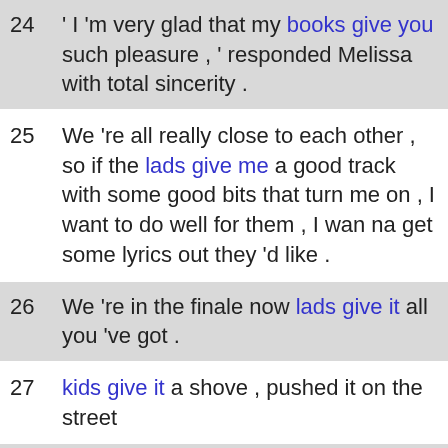24 ' I 'm very glad that my books give you such pleasure , ' responded Melissa with total sincerity .
25 We 're all really close to each other , so if the lads give me a good track with some good bits that turn me on , I want to do well for them , I wan na get some lyrics out they 'd like .
26 We 're in the finale now lads give it all you 've got .
27 kids give it a shove , pushed it on the street
28 Tennis rackets give you a lot of power but the most power you get from the body .
29 Finally , both Biddulph and Music and Arts give us Weber 's A flat Sonata ( played with